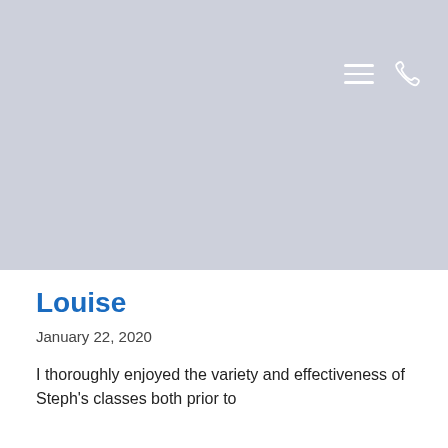[Figure (illustration): Large grey/blue-grey banner hero area with hamburger menu icon and phone icon in top right corner, white background below]
Louise
January 22, 2020
I thoroughly enjoyed the variety and effectiveness of Steph's classes both prior to